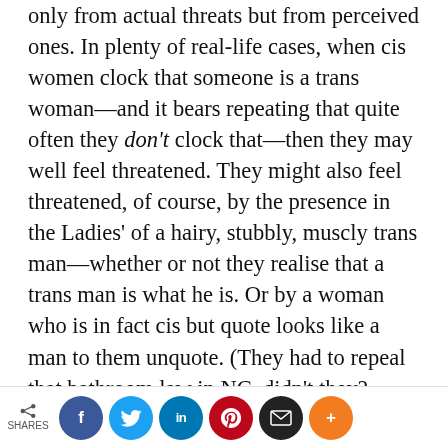only from actual threats but from perceived ones. In plenty of real-life cases, when cis women clock that someone is a trans woman—and it bears repeating that quite often they don't clock that—then they may well feel threatened. They might also feel threatened, of course, by the presence in the Ladies' of a hairy, stubbly, muscly trans man—whether or not they realise that a trans man is what he is. Or by a woman who is in fact cis but quote looks like a man to them unquote. (They had to repeal that bathroom law in NC, didn't they? Because its practical upshot was that loads and loads of cis women